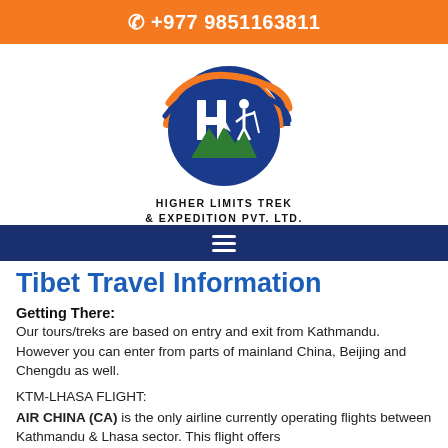📞 +977 9851163811
[Figure (logo): Higher Limits Trek & Expedition Pvt. Ltd. circular logo with mountaineer silhouette, mountain, and H letter mark in blue, orange, and green]
Navigation menu (hamburger icon)
Tibet Travel Information
Getting There:
Our tours/treks are based on entry and exit from Kathmandu. However you can enter from parts of mainland China, Beijing and Chengdu as well.
KTM-LHASA FLIGHT:
AIR CHINA (CA) is the only airline currently operating flights between Kathmandu & Lhasa sector. This flight offers